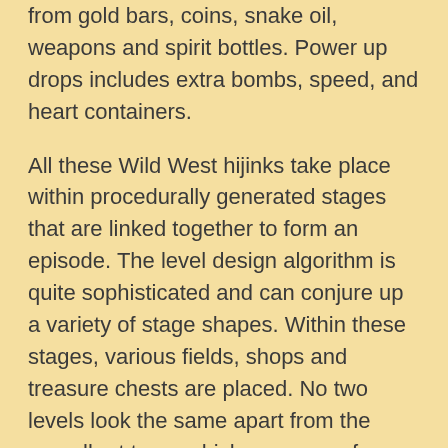from gold bars, coins, snake oil, weapons and spirit bottles. Power up drops includes extra bombs, speed, and heart containers.
All these Wild West hijinks take place within procedurally generated stages that are linked together to form an episode. The level design algorithm is quite sophisticated and can conjure up a variety of stage shapes. Within these stages, various fields, shops and treasure chests are placed. No two levels look the same apart from the overall art tone, which can range from homestead corn fields, burnt out settlements and dusty prairies.
Once you have rid all the stages of their varmints a boss level gate is unlocked. During my gameplay sessions, I've encountered two